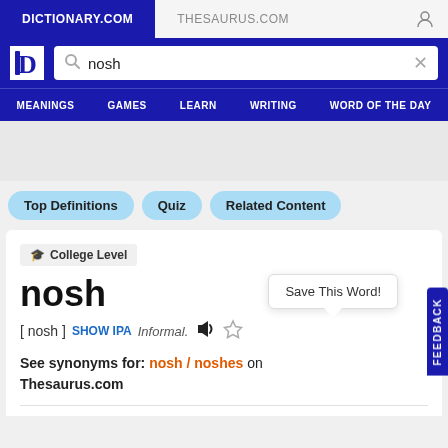DICTIONARY.COM | THESAURUS.COM
[Figure (screenshot): Dictionary.com website search bar with logo and 'nosh' typed in search field]
MEANINGS   GAMES   LEARN   WRITING   WORD OF THE DAY
Top Definitions   Quiz   Related Content
🎓 College Level
nosh
Save This Word!
[ nosh ]  SHOW IPA  Informal.
See synonyms for: nosh / noshes on Thesaurus.com